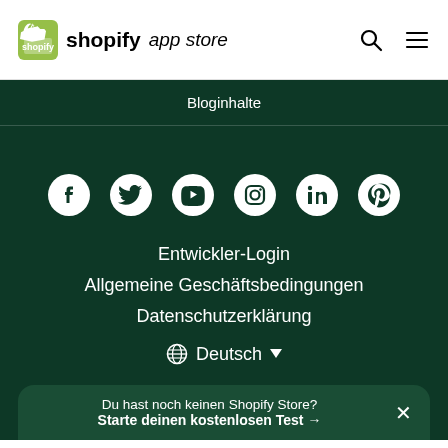[Figure (logo): Shopify App Store logo with green bag icon and text 'shopify app store']
Shopify App Store header with search and menu icons
Bloginhalte
[Figure (infographic): Row of social media icons: Facebook, Twitter, YouTube, Instagram, LinkedIn, Pinterest]
Entwickler-Login
Allgemeine Geschäftsbedingungen
Datenschutzerklärung
🌐 Deutsch ▾
Du hast noch keinen Shopify Store?
Starte deinen kostenlosen Test →